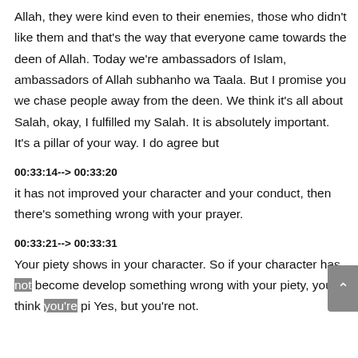Allah, they were kind even to their enemies, those who didn't like them and that's the way that everyone came towards the deen of Allah. Today we're ambassadors of Islam, ambassadors of Allah subhanho wa Taala. But I promise you we chase people away from the deen. We think it's all about Salah, okay, I fulfilled my Salah. It is absolutely important. It's a pillar of your way. I do agree but
00:33:14--> 00:33:20
it has not improved your character and your conduct, then there's something wrong with your prayer.
00:33:21--> 00:33:31
Your piety shows in your character. So if your character has not become develop something wrong with your piety, you think you're pi Yes, but you're not.